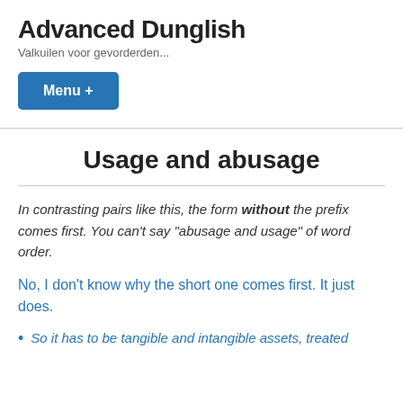Advanced Dunglish
Valkuilen voor gevorderden...
Menu +
Usage and abusage
In contrasting pairs like this, the form without the prefix comes first. You can't say “abusage and usage” of word order.
No, I don't know why the short one comes first. It just does.
So it has to be tangible and intangible assets, treated